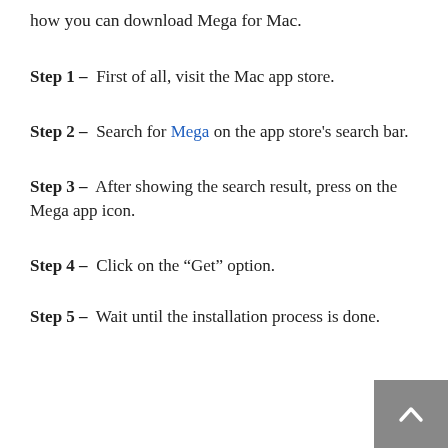how you can download Mega for Mac.
Step 1 – First of all, visit the Mac app store.
Step 2 – Search for Mega on the app store's search bar.
Step 3 – After showing the search result, press on the Mega app icon.
Step 4 – Click on the “Get” option.
Step 5 – Wait until the installation process is done.